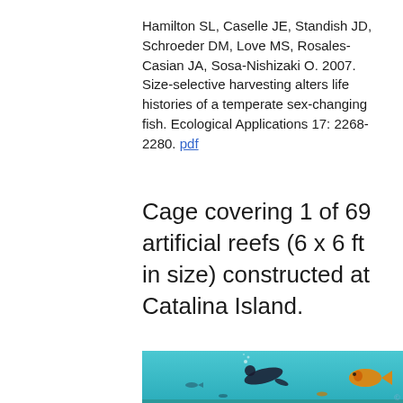Hamilton SL, Caselle JE, Standish JD, Schroeder DM, Love MS, Rosales-Casian JA, Sosa-Nishizaki O. 2007. Size-selective harvesting alters life histories of a temperate sex-changing fish. Ecological Applications 17: 2268-2280. pdf
Cage covering 1 of 69 artificial reefs (6 x 6 ft in size) constructed at Catalina Island.
[Figure (photo): Underwater photograph showing a scuba diver swimming near fish above an artificial reef at Catalina Island. The water is teal/blue and there are several small fish visible including what appears to be a colorful fish on the right.]